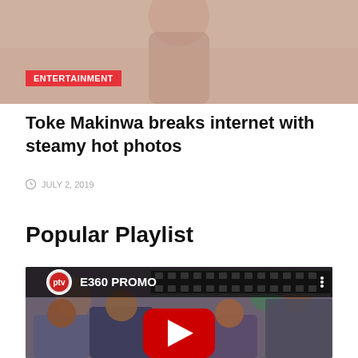[Figure (photo): Woman in a strappy outfit, cropped photo at top of page]
ENTERTAINMENT
Toke Makinwa breaks internet with steamy hot photos
JULY 2, 2019
Popular Playlist
[Figure (screenshot): YouTube video thumbnail showing PTV E360 PROMO with wedding scene and YouTube play button overlay]